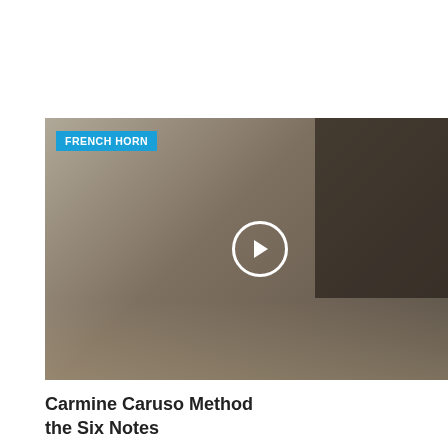Demonstration with principal John Cerminaro
[Figure (screenshot): Video thumbnail showing two musicians playing French horn in black clothing with a piano in background, labeled FRENCH HORN with a play button overlay]
Carmine Caruso Method the Six Notes
[Figure (screenshot): Video thumbnail showing two musicians playing French horn in black clothing with a piano in background, labeled FRENCH HORN with a play button overlay]
Carmine Caruso Method Low Register
< PREV   NEXT >
GET UPDATES
Follow Us @banddirectorcom
Facebook   Twitter